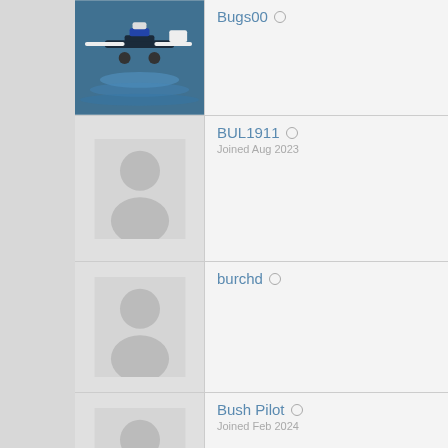Bugs00
BUL1911
burchd
Bush Pilot
BushwheelBill
bushwheeldianna
butch
Butch1234